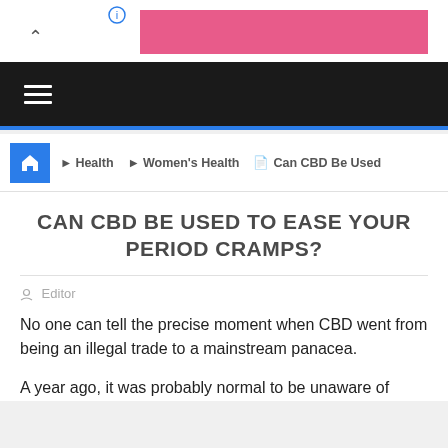[Figure (screenshot): Website screenshot showing ad banner area with pink background, navigation bar with hamburger menu, breadcrumb navigation, article title, byline, and article body text about CBD and period cramps.]
Health › Women's Health › Can CBD Be Used
CAN CBD BE USED TO EASE YOUR PERIOD CRAMPS?
Editor
No one can tell the precise moment when CBD went from being an illegal trade to a mainstream panacea.
A year ago, it was probably normal to be unaware of